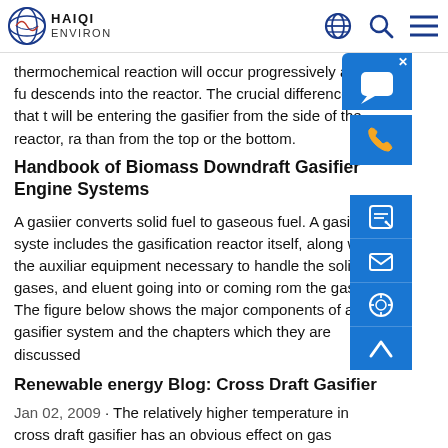HAIQI ENVIRON
thermochemical reaction will occur progressively as this fu descends into the reactor. The crucial difference is that t will be entering the gasifier from the side of the reactor, ra than from the top or the bottom.
Handbook of Biomass Downdraft Gasifier Engine Systems
A gasiier converts solid fuel to gaseous fuel. A gasifier syste includes the gasification reactor itself, along with the auxiliar equipment necessary to handle the solids, gases, and eluent going into or coming rom the gasifier. The figure below shows the major components of a gasifier system and the chapters which they are discussed
Renewable energy Blog: Cross Draft Gasifier
Jan 02, 2009 · The relatively higher temperature in cross draft gasifier has an obvious effect on gas composition such as high carbon monoxide and low hydrogen and methane content when dry fuel such as charcoal is used. Cross draft gasifier operates